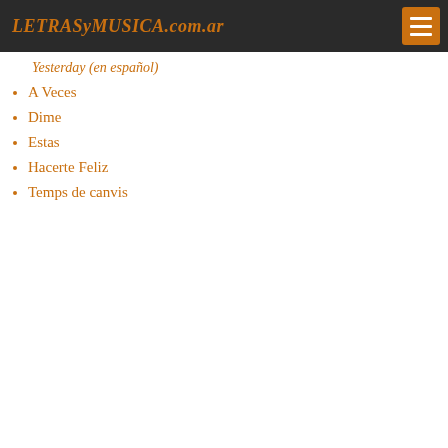LETRASyMUSICA.com.ar
Yesterday (en español)
A Veces
Dime
Estas
Hacerte Feliz
Temps de canvis